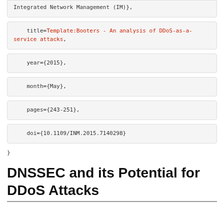Integrated Network Management (IM)},
title=Template:Booters - An analysis of DDoS-as-a-service attacks,
year={2015},
month={May},
pages={243-251},
doi={10.1109/INM.2015.7140298}
}
DNSSEC and its Potential for DDoS Attacks